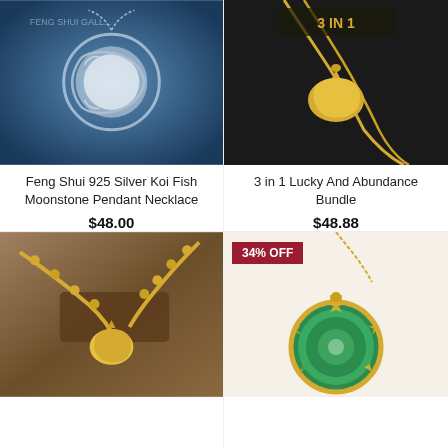[Figure (photo): Feng Shui 925 Silver Koi Fish Moonstone Pendant Necklace product photo on blue background]
Feng Shui 925 Silver Koi Fish Moonstone Pendant Necklace
$48.00
[Figure (photo): 3 in 1 Lucky And Abundance Bundle gold pendant necklace on dark background with '3 IN 1' text]
3 in 1 Lucky And Abundance Bundle
$48.88
[Figure (photo): Gold Pixiu pendant with gold bead necklace/bracelet on wooden display]
[Figure (photo): Green jade donut pendant with gold phoenix setting on chain, 34% OFF badge]
34% OFF